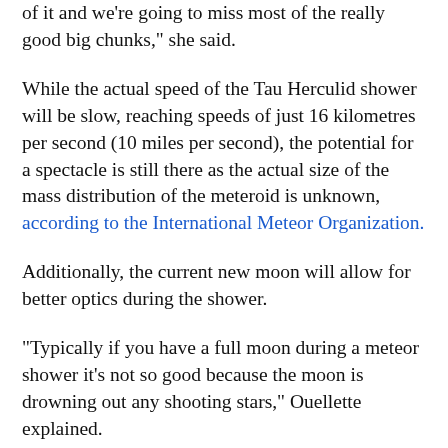of it and we're going to miss most of the really good big chunks," she said.
While the actual speed of the Tau Herculid shower will be slow, reaching speeds of just 16 kilometres per second (10 miles per second), the potential for a spectacle is still there as the actual size of the mass distribution of the meteroid is unknown, according to the International Meteor Organization.
Additionally, the current new moon will allow for better optics during the shower.
“Typically if you have a full moon during a meteor shower it’s not so good because the moon is drowning out any shooting stars,” Ouellette explained.